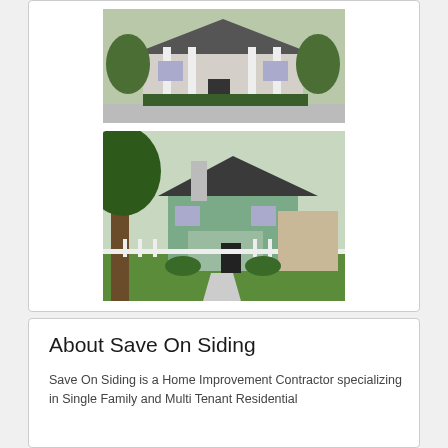[Figure (photo): Photo of a large residential house with white columns and gravel driveway, surrounded by trees and landscaping]
[Figure (photo): Photo of a green craftsman-style house with white picket fence and tree in foreground, concrete walkway leading to front door]
About Save On Siding
Save On Siding is a Home Improvement Contractor specializing in Single Family and Multi Tenant Residential